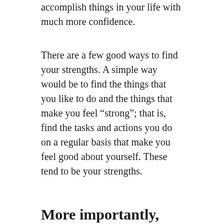accomplish things in your life with much more confidence.
There are a few good ways to find your strengths. A simple way would be to find the things that you like to do and the things that make you feel “strong”; that is, find the tasks and actions you do on a regular basis that make you feel good about yourself. These tend to be your strengths.
More importantly, know your limitations
While knowing your strengths is important, to make sure that you are only confident and not